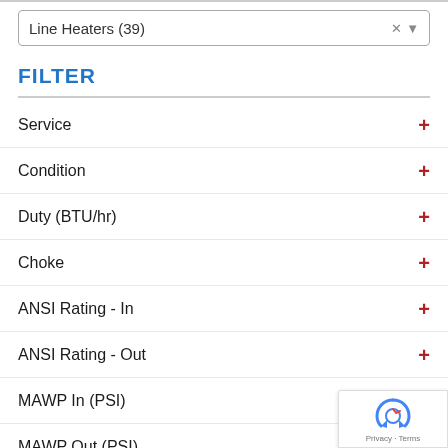Line Heaters (39)
FILTER
Service
Condition
Duty (BTU/hr)
Choke
ANSI Rating - In
ANSI Rating - Out
MAWP In (PSI)
MAWP Out (PSI)
Manufacturer (Line Heater)